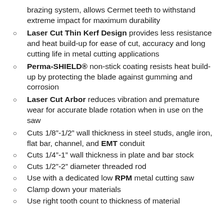brazing system, allows Cermet teeth to withstand extreme impact for maximum durability
Laser Cut Thin Kerf Design provides less resistance and heat build-up for ease of cut, accuracy and long cutting life in metal cutting applications
Perma-SHIELD® non-stick coating resists heat build-up by protecting the blade against gumming and corrosion
Laser Cut Arbor reduces vibration and premature wear for accurate blade rotation when in use on the saw
Cuts 1/8"-1/2" wall thickness in steel studs, angle iron, flat bar, channel, and EMT conduit
Cuts 1/4"-1" wall thickness in plate and bar stock
Cuts 1/2"-2" diameter threaded rod
Use with a dedicated low RPM metal cutting saw
Clamp down your materials
Use right tooth count to thickness of material